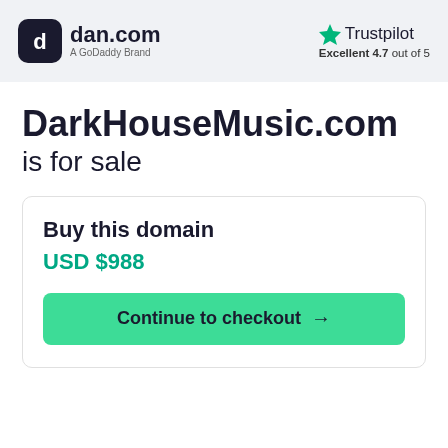[Figure (logo): dan.com logo - dark rounded square icon with 'd' symbol, followed by 'dan.com' text in dark navy and 'A GoDaddy Brand' subtitle]
[Figure (logo): Trustpilot logo with green star and 'Excellent 4.7 out of 5' rating text]
DarkHouseMusic.com is for sale
Buy this domain
USD $988
Continue to checkout →